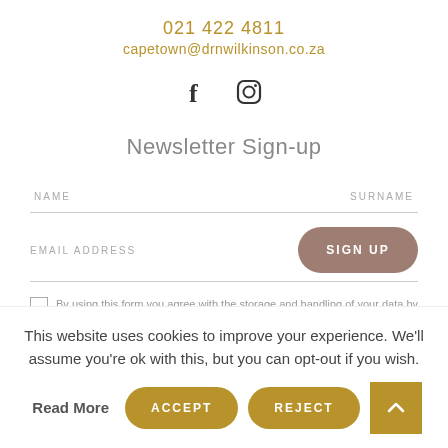021 422 4811
capetown@drnwilkinson.co.za
[Figure (illustration): Facebook and Instagram social media icons]
Newsletter Sign-up
NAME
SURNAME
EMAIL ADDRESS
SIGN UP
By using this form you agree with the storage and handling of your data by this website.
Recent Post
This website uses cookies to improve your experience. We'll assume you're ok with this, but you can opt-out if you wish.
Read More
ACCEPT
REJECT